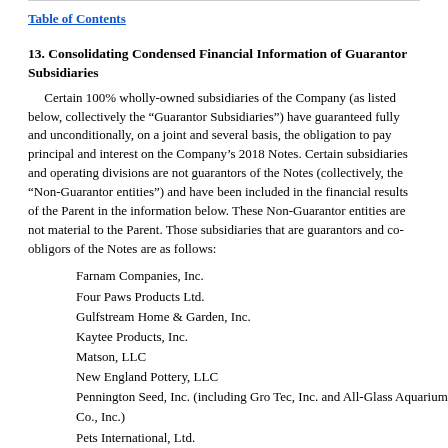Table of Contents
13. Consolidating Condensed Financial Information of Guarantor Subsidiaries
Certain 100% wholly-owned subsidiaries of the Company (as listed below, collectively the “Guarantor Subsidiaries”) have guaranteed fully and unconditionally, on a joint and several basis, the obligation to pay principal and interest on the Company’s 2018 Notes. Certain subsidiaries and operating divisions are not guarantors of the Notes (collectively, the “Non-Guarantor entities”) and have been included in the financial results of the Parent in the information below. These Non-Guarantor entities are not material to the Parent. Those subsidiaries that are guarantors and co-obligors of the Notes are as follows:
Farnam Companies, Inc.
Four Paws Products Ltd.
Gulfstream Home & Garden, Inc.
Kaytee Products, Inc.
Matson, LLC
New England Pottery, LLC
Pennington Seed, Inc. (including Gro Tec, Inc. and All-Glass Aquarium Co., Inc.)
Pets International, Ltd.
T.F.H. Publications, Inc.
Wellmark International (including B2E Corporation and B2E Biotech LLC)